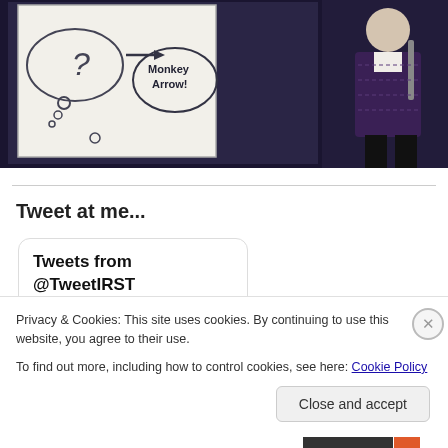[Figure (photo): A presentation scene with a whiteboard showing 'Monkey Arrow' text with speech bubble drawings on the left, and a presenter standing at a microphone on the right, set against a dark background.]
Tweet at me...
Tweets from @TweetIRST
Privacy & Cookies: This site uses cookies. By continuing to use this website, you agree to their use.
To find out more, including how to control cookies, see here: Cookie Policy
Close and accept